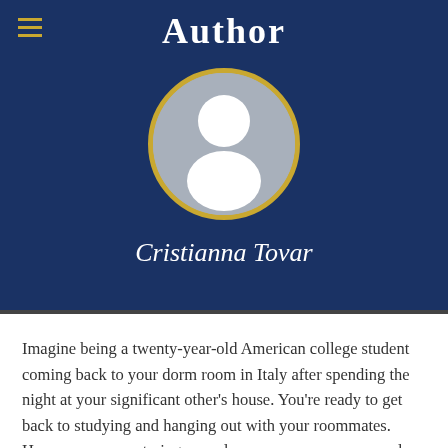Author
[Figure (illustration): Circular avatar with gold border showing a generic white person silhouette on a gray background]
Cristianna Tovar
Imagine being a twenty-year-old American college student coming back to your dorm room in Italy after spending the night at your significant other's house. You're ready to get back to studying and hanging out with your roommates. However, upon entering your dorm room, you see several suspicious things. The door is open